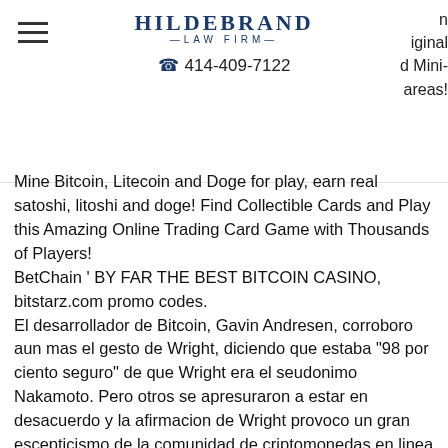HILDEBRAND LAW FIRM — 414-409-7122
n iginal d Mini- areas!
Mine Bitcoin, Litecoin and Doge for play, earn real satoshi, litoshi and doge! Find Collectible Cards and Play this Amazing Online Trading Card Game with Thousands of Players!
BetChain ' BY FAR THE BEST BITCOIN CASINO, bitstarz.com promo codes.
El desarrollador de Bitcoin, Gavin Andresen, corroboro aun mas el gesto de Wright, diciendo que estaba "98 por ciento seguro" de que Wright era el seudonimo Nakamoto. Pero otros se apresuraron a estar en desacuerdo y la afirmacion de Wright provoco un gran escepticismo de la comunidad de criptomonedas en linea , asi como un supuesto interes del FBI. En medio de la repentina afluencia de escrutinio, Wright elimino su publicacion y emitio una